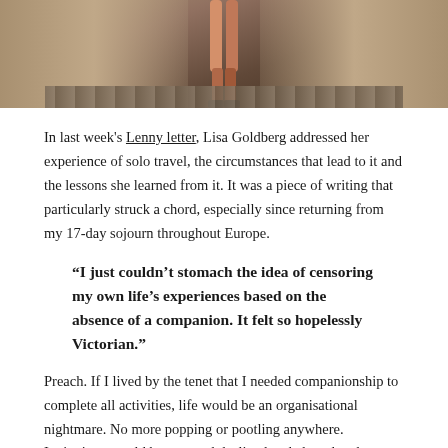[Figure (photo): Photo of a person's legs walking through a narrow stone tunnel or corridor with cobblestone floor, viewed from behind. Stone walls on either side converge to a bright opening.]
In last week's Lenny letter, Lisa Goldberg addressed her experience of solo travel, the circumstances that lead to it and the lessons she learned from it. It was a piece of writing that particularly struck a chord, especially since returning from my 17-day sojourn throughout Europe.
“I just couldn’t stomach the idea of censoring my own life’s experiences based on the absence of a companion. It felt so hopelessly Victorian.”
Preach. If I lived by the tenet that I needed companionship to complete all activities, life would be an organisational nightmare. No more popping or pootling anywhere. Invitations would be sent and declined and altered and accepted for even the most banal of enterprises. Do join me on